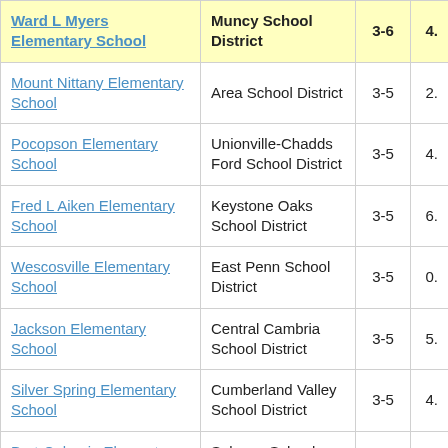| School | District | Grades | Value |
| --- | --- | --- | --- |
| Ward L Myers Elementary School | Muncy School District | 3-6 | 4. |
| Mount Nittany Elementary School | Area School District | 3-5 | 2. |
| Pocopson Elementary School | Unionville-Chadds Ford School District | 3-5 | 4. |
| Fred L Aiken Elementary School | Keystone Oaks School District | 3-5 | 6. |
| Wescosville Elementary School | East Penn School District | 3-5 | 0. |
| Jackson Elementary School | Central Cambria School District | 3-5 | 5. |
| Silver Spring Elementary School | Cumberland Valley School District | 3-5 | 4. |
| Bart-Colerain Elementary School | Solanco School District | 3-5 | -5. |